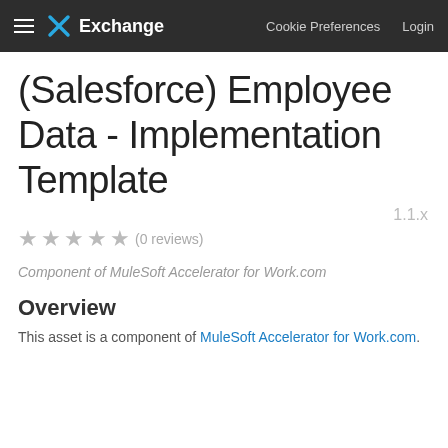Exchange  Cookie Preferences  Login
(Salesforce) Employee Data - Implementation Template
1.1.x
★★★★★ (0 reviews)
Component of MuleSoft Accelerator for Work.com
Overview
This asset is a component of MuleSoft Accelerator for Work.com.